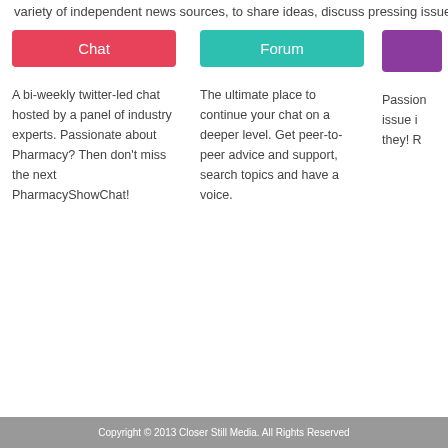variety of independent news sources, to share ideas, discuss pressing issues, deba
Chat
A bi-weekly twitter-led chat hosted by a panel of industry experts. Passionate about Pharmacy? Then don’t miss the next PharmacyShowChat!
Forum
The ultimate place to continue your chat on a deeper level. Get peer-to-peer advice and support, search topics and have a voice.
Passion issue i they! R
Copyright © 2013 Closer Still Media. All Rights Reserved